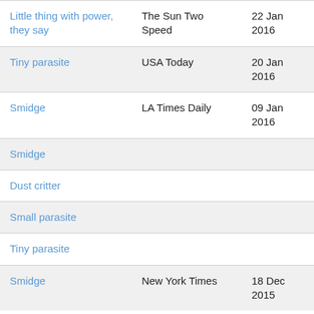| Little thing with power, they say | The Sun Two Speed | 22 Jan 2016 |
| Tiny parasite | USA Today | 20 Jan 2016 |
| Smidge | LA Times Daily | 09 Jan 2016 |
| Smidge |  |  |
| Dust critter |  |  |
| Small parasite |  |  |
| Tiny parasite |  |  |
| Smidge | New York Times | 18 Dec 2015 |